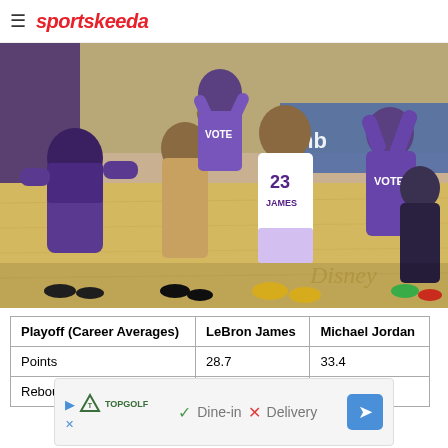sportskeeda
[Figure (photo): NBA players celebrating on the basketball court, including LeBron James wearing #23 Lakers jersey. Players wearing purple 'VOTE' shirts in background. Disney bubble arena visible.]
| Playoff (Career Averages) | LeBron James | Michael Jordan |
| --- | --- | --- |
| Points | 28.7 | 33.4 |
| Rebounds | 9.0 | 6.4 |
[Figure (other): Advertisement banner for Topgolf showing Dine-in and Delivery options]